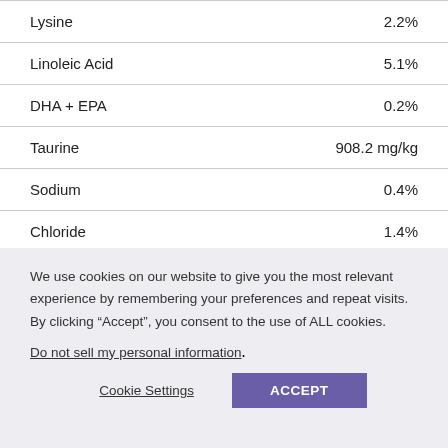| Nutrient | Value |
| --- | --- |
| Lysine | 2.2% |
| Linoleic Acid | 5.1% |
| DHA + EPA | 0.2% |
| Taurine | 908.2 mg/kg |
| Sodium | 0.4% |
| Chloride | 1.4% |
| Copper | 18.1 mg/kg |
We use cookies on our website to give you the most relevant experience by remembering your preferences and repeat visits. By clicking “Accept”, you consent to the use of ALL cookies.
Do not sell my personal information.
Cookie Settings
ACCEPT